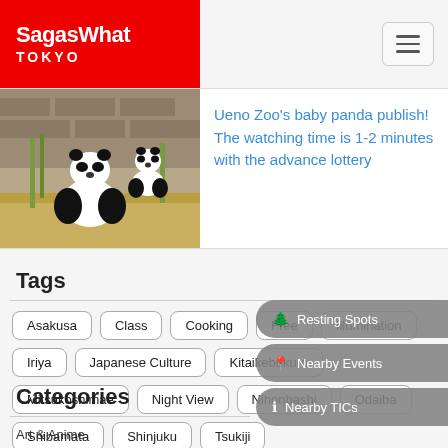SagasWhat TOKYO
[Figure (photo): Two giant pandas in an enclosure with bamboo and hay, one panda appears to be held up or climbing.]
Ueno Zoo's baby panda publish! The watching time is 1-2 minutes with the advance lottery
Tags
Asakusa
Class
Cooking
Free
Illumination
Iriya
Japanese Culture
Kitaikebukuro
Mitsukoshimae
Night View
Nihonbashi
Odaiba
Shibamata
Shinjuku
Tsukiji
Categories
Art & Anime
🌲 Resting Spots
📍 Nearby Events
ℹ Nearby TICs